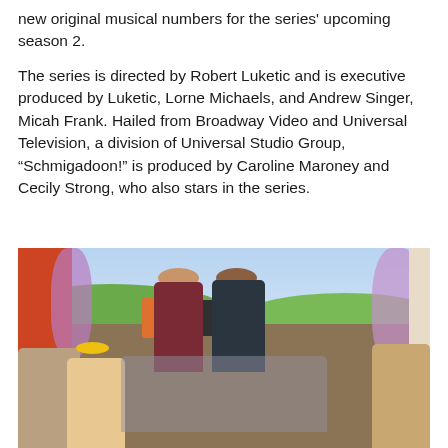new original musical numbers for the series' upcoming season 2.

The series is directed by Robert Luketic and is executive produced by Luketic, Lorne Michaels, and Andrew Singer, Micah Frank. Hailed from Broadway Video and Universal Television, a division of Universal Studio Group, “Schmigadoon!” is produced by Caroline Maroney and Cecily Strong, who also stars in the series.
[Figure (photo): A scene from Schmigadoon showing two hikers with backpacks (a woman in burgundy and a man in dark jacket) being greeted by a crowd of colorfully dressed townspeople, with a scenic painted backdrop of green hills, purple flowering vines, and an orange door on the left.]